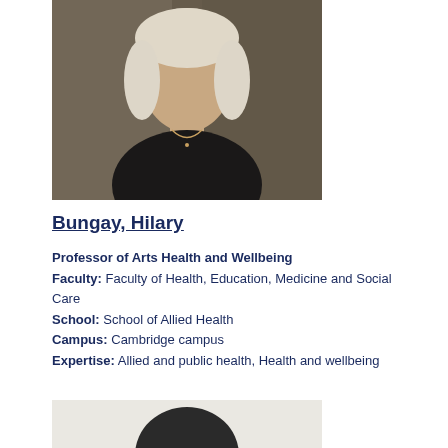[Figure (photo): Professional headshot of Hilary Bungay, a woman with short blonde hair wearing a black top and gold necklace, photographed against a dark brown/grey background.]
Bungay, Hilary
Professor of Arts Health and Wellbeing
Faculty: Faculty of Health, Education, Medicine and Social Care
School: School of Allied Health
Campus: Cambridge campus
Expertise: Allied and public health, Health and wellbeing
[Figure (photo): Bottom portion of a second person's profile photo showing the top of a head with dark hair against a light grey background, partially visible.]